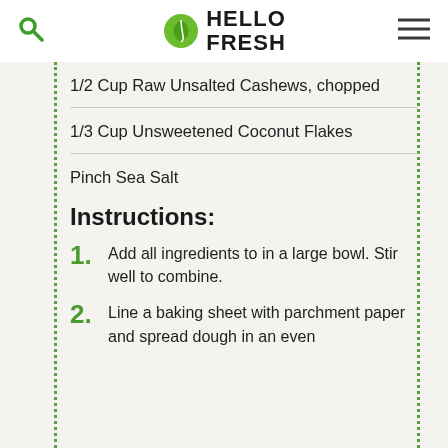HELLO FRESH
1/2 Cup Raw Unsalted Cashews, chopped
1/3 Cup Unsweetened Coconut Flakes
Pinch Sea Salt
Instructions:
1. Add all ingredients to in a large bowl. Stir well to combine.
2. Line a baking sheet with parchment paper and spread dough in an even